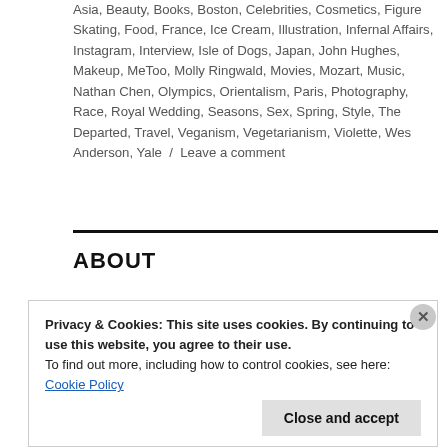Asia, Beauty, Books, Boston, Celebrities, Cosmetics, Figure Skating, Food, France, Ice Cream, Illustration, Infernal Affairs, Instagram, Interview, Isle of Dogs, Japan, John Hughes, Makeup, MeToo, Molly Ringwald, Movies, Mozart, Music, Nathan Chen, Olympics, Orientalism, Paris, Photography, Race, Royal Wedding, Seasons, Sex, Spring, Style, The Departed, Travel, Veganism, Vegetarianism, Violette, Wes Anderson, Yale / Leave a comment
ABOUT
Privacy & Cookies: This site uses cookies. By continuing to use this website, you agree to their use. To find out more, including how to control cookies, see here: Cookie Policy
Close and accept